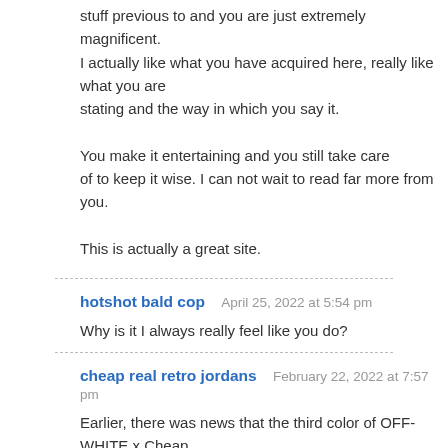stuff previous to and you are just extremely magnificent.
I actually like what you have acquired here, really like what you are stating and the way in which you say it.

You make it entertaining and you still take care of to keep it wise. I can not wait to read far more from you.

This is actually a great site.
hotshot bald cop   April 25, 2022 at 5:54 pm
Why is it I always really feel like you do?
cheap real retro jordans   February 22, 2022 at 7:57 pm
Earlier, there was news that the third color of OFF-WHITE x Cheap inspired by white grapes. Although it is vague, from the outline and hammer, and this is also its first exposure!$ 76.98Real Cheap Jorda